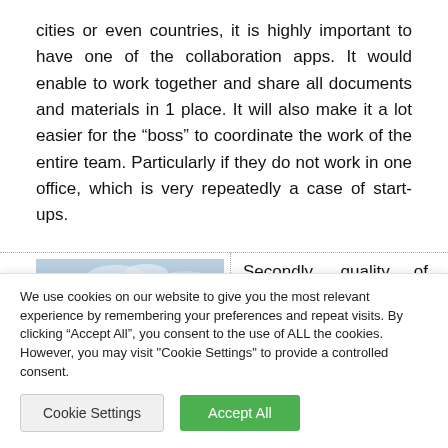cities or even countries, it is highly important to have one of the collaboration apps. It would enable to work together and share all documents and materials in 1 place. It will also make it a lot easier for the “boss” to coordinate the work of the entire team. Particularly if they do not work in one office, which is very repeatedly a case of start-ups.
[Figure (photo): Photo of a large modern building with a curved glass and steel roof structure, likely a convention center or airport terminal, under a partly cloudy sky.]
Secondly, quality of services and ⁄or
We use cookies on our website to give you the most relevant experience by remembering your preferences and repeat visits. By clicking “Accept All”, you consent to the use of ALL the cookies. However, you may visit "Cookie Settings" to provide a controlled consent.